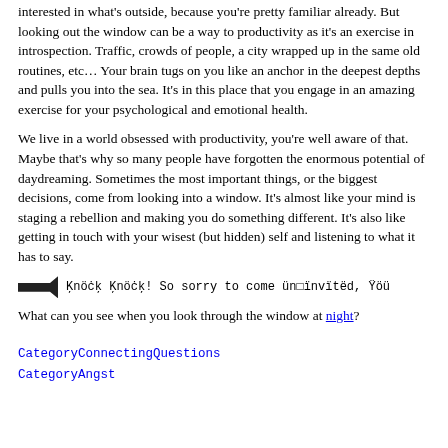interested in what's outside, because you're pretty familiar already. But looking out the window can be a way to productivity as it's an exercise in introspection. Traffic, crowds of people, a city wrapped up in the same old routines, etc… Your brain tugs on you like an anchor in the deepest depths and pulls you into the sea. It's in this place that you engage in an amazing exercise for your psychological and emotional health.
We live in a world obsessed with productivity, you're well aware of that. Maybe that's why so many people have forgotten the enormous potential of daydreaming. Sometimes the most important things, or the biggest decisions, come from looking into a window. It's almost like your mind is staging a rebellion and making you do something different. It's also like getting in touch with your wisest (but hidden) self and listening to what it has to say.
Ķnöċķ Ķnöċķ! So sorry to come ün□ïnvïtëd, Ÿöü
What can you see when you look through the window at night?
CategoryConnectingQuestions
CategoryAngst